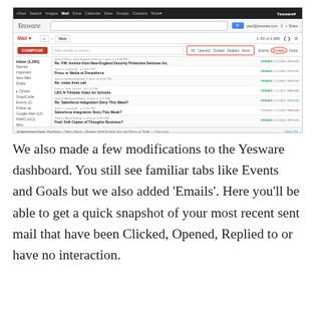[Figure (screenshot): Screenshot of Gmail inbox with Yesware plugin showing email list with Opened, Clicked, Replied status indicators. A red rectangle highlights filter tabs (All, Opened, Clicked, Replied, More) and a red circle highlights the 'Emails' tab in the Yesware dashboard.]
We also made a few modifications to the Yesware dashboard. You still see familiar tabs like Events and Goals but we also added ‘Emails’. Here you’ll be able to get a quick snapshot of your most recent sent mail that have been Clicked, Opened, Replied to or have no interaction.